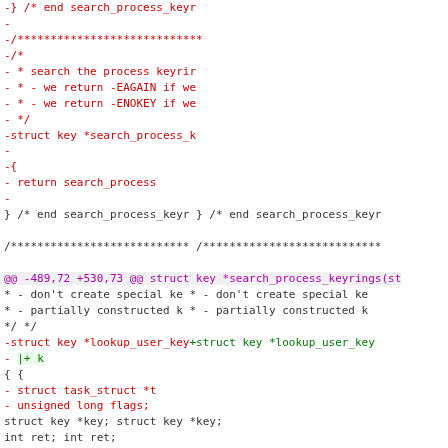[Figure (screenshot): A split diff view of source code showing removed lines (red) on the left and added lines (green) on the right, with hunk headers in purple and normal context lines in black/grey. The diff shows changes to search_process_keyrings and lookup_user_key functions in a C source file.]